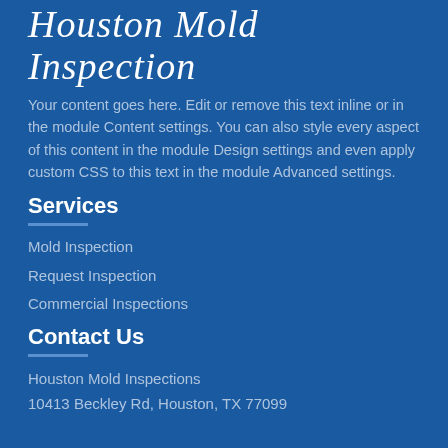Houston Mold Inspection
Your content goes here. Edit or remove this text inline or in the module Content settings. You can also style every aspect of this content in the module Design settings and even apply custom CSS to this text in the module Advanced settings.
Services
Mold Inspection
Request Inspection
Commercial Inspections
Contact Us
Houston Mold Inspections
10413 Beckley Rd, Houston, TX 77099